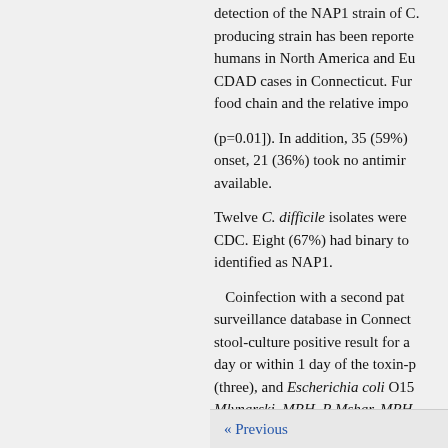detection of the NAP1 strain of C. producing strain has been reported humans in North America and Eu CDAD cases in Connecticut. Fur food chain and the relative impo
(p=0.01]). In addition, 35 (59%) onset, 21 (36%) took no antimir available.
Twelve C. difficile isolates were CDC. Eight (67%) had binary to identified as NAP1.
Coinfection with a second path surveillance database in Connect stool-culture positive result for a day or within 1 day of the toxin-p (three), and Escherichia coli O15 Mlynarski, MPH, P Mshar, MPH Connecticut Dept of Public Heal report demonstrate that CA-CDA Connecticut outpatients, a
is
« Previous